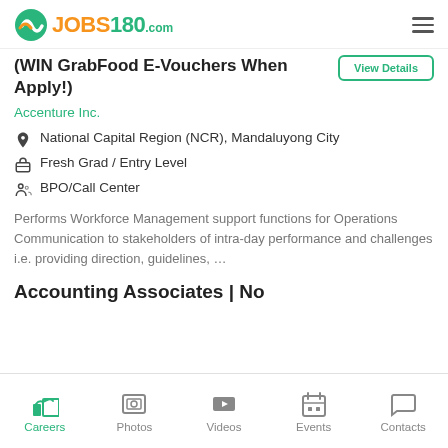JOBS180.com
(WIN GrabFood E-Vouchers When Apply!)
Accenture Inc.
National Capital Region (NCR), Mandaluyong City
Fresh Grad / Entry Level
BPO/Call Center
Performs Workforce Management support functions for Operations Communication to stakeholders of intra-day performance and challenges i.e. providing direction, guidelines, …
Accounting Associates | No
Careers | Photos | Videos | Events | Contacts